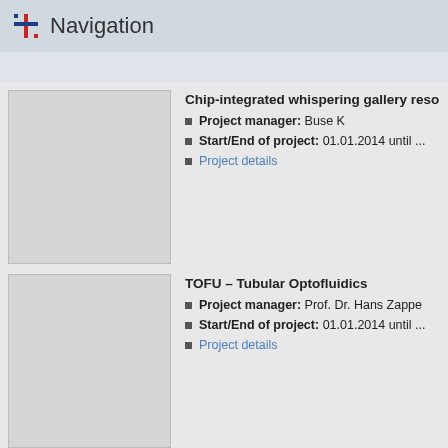Navigation
[Figure (photo): Project image placeholder (gray box) for Chip-integrated whispering gallery resonator project]
Chip-integrated whispering gallery reso...
Project manager: Buse K
Start/End of project: 01.01.2014 until ...
Project details
[Figure (photo): Project image placeholder (gray box) for TOFU – Tubular Optofluidics project]
TOFU – Tubular Optofluidics
Project manager: Prof. Dr. Hans Zappe
Start/End of project: 01.01.2014 until ...
Project details
[Figure (photo): Project image placeholder (gray box, partial) for LED-gepumpte optisch-parametrische project]
LED-gepumpte optisch-parametrische O...
Project manager: Breunig I
Start/End of project: 01.01.2014 until ...